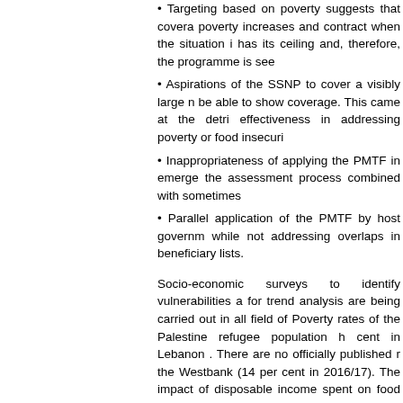• Targeting based on poverty suggests that coverage should expand when poverty increases and contract when the situation improves. Budgeting has its ceiling and, therefore, the programme is seen...
• Aspirations of the SSNP to cover a visibly large number of people to be able to show coverage. This came at the detriment of the effectiveness in addressing poverty or food insecurity...
• Inappropriateness of applying the PMTF in emergencies, notably the assessment process combined with sometimes...
• Parallel application of the PMTF by host government programmes while not addressing overlaps in beneficiary lists.
Socio-economic surveys to identify vulnerabilities and allow for trend analysis are being carried out in all field offices. Poverty rates of the Palestine refugee population have... cent in Lebanon . There are no officially published rates from the Westbank (14 per cent in 2016/17). The impact of disposable income spent on food (32 per cent of... per cent in Syria ), high levels of currency depreciation... insecurity levels reached new highs with 78 per cent in Syria and 58 per cent in Lebanon. In 2021, the cost... cent in Syria .